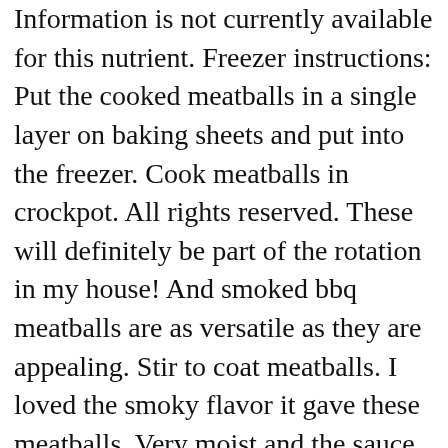Information is not currently available for this nutrient. Freezer instructions: Put the cooked meatballs in a single layer on baking sheets and put into the freezer. Cook meatballs in crockpot. All rights reserved. These will definitely be part of the rotation in my house! And smoked bbq meatballs are as versatile as they are appealing. Stir to coat meatballs. I loved the smoky flavor it gave these meatballs. Very moist and the sauce got nice and sticky. I doubled the recipe for a potluck and they were so good. Yes! Powered by the ESHA Research Database © 2018, ESHA Research, Inc. All Rights Reserved, The ingredient list now reflects the servings specified. Lightly grease a medium baking dish. Roast beef is a classic main dish for holidays, family get-togethers, and elegant dinners alike. This one is sure to be a hit with the kids! My BBQ meatballs recipe is a